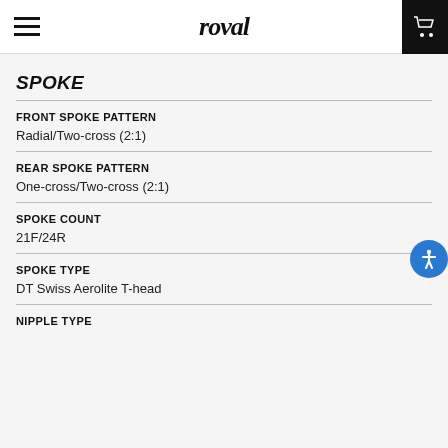roval
SPOKE
FRONT SPOKE PATTERN
Radial/Two-cross (2:1)
REAR SPOKE PATTERN
One-cross/Two-cross (2:1)
SPOKE COUNT
21F/24R
SPOKE TYPE
DT Swiss Aerolite T-head
NIPPLE TYPE